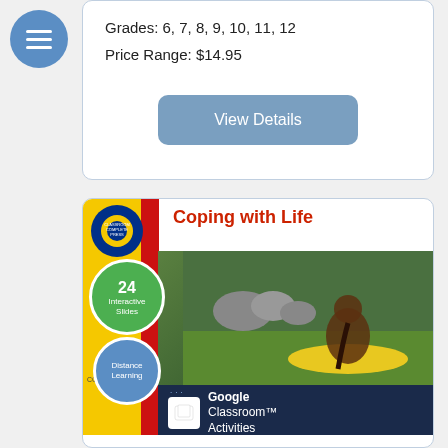[Figure (logo): Blue circular menu/hamburger icon with three white horizontal lines]
Grades: 6, 7, 8, 9, 10, 11, 12
Price Range: $14.95
View Details
[Figure (illustration): Book cover for 'Coping with Life' showing a person meditating outdoors on a yellow mat, with green and blue badge circles, Google Classroom Activities branding, and Classroom Complete Press logo]
Real World Life Skills - Self-Sustainability Skills: Coping with Life -